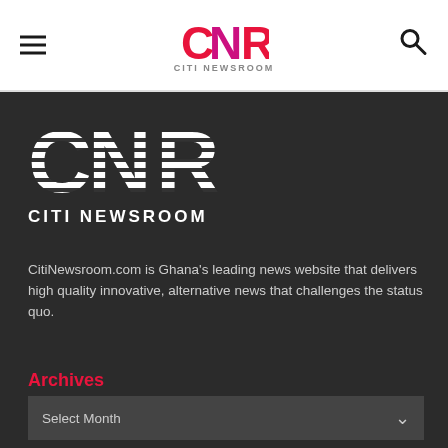≡  CNR CITI NEWSROOM  🔍
[Figure (logo): CNR Citi Newsroom logo — large white striped letters CNR with CITI NEWSROOM text below, on dark background]
CitiNewsroom.com is Ghana's leading news website that delivers high quality innovative, alternative news that challenges the status quo.
Archives
Select Month
Download App